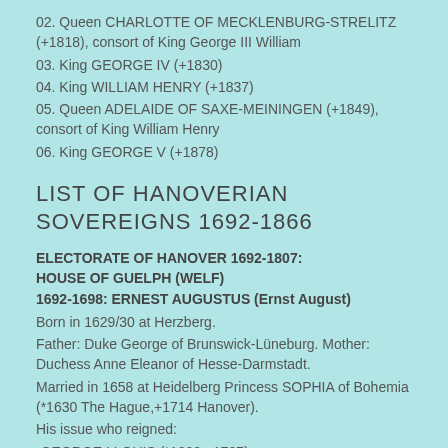02. Queen CHARLOTTE OF MECKLENBURG-STRELITZ (+1818), consort of King George III William
03. King GEORGE IV (+1830)
04. King WILLIAM HENRY (+1837)
05. Queen ADELAIDE OF SAXE-MEININGEN (+1849), consort of King William Henry
06. King GEORGE V (+1878)
LIST OF HANOVERIAN SOVEREIGNS 1692-1866
ELECTORATE OF HANOVER 1692-1807: HOUSE OF GUELPH (WELF)
1692-1698: ERNEST AUGUSTUS (Ernst August)
Born in 1629/30 at Herzberg.
Father: Duke George of Brunswick-Lüneburg. Mother: Duchess Anne Eleanor of Hesse-Darmstadt.
Married in 1658 at Heidelberg Princess SOPHIA of Bohemia (*1630 The Hague,+1714 Hanover).
His issue who reigned:
-GEORGE I LOUIS (*1660,+1727),